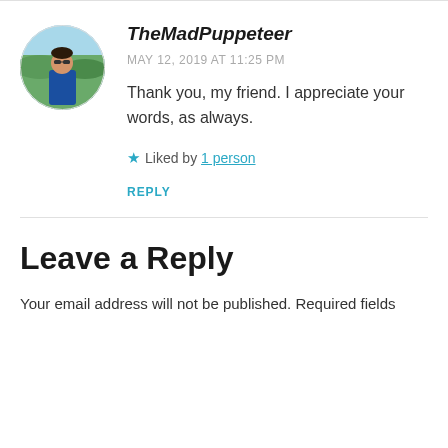[Figure (photo): Circular avatar photo of a person wearing sunglasses and a blue jacket, standing outdoors with a scenic background.]
TheMadPuppeteer
MAY 12, 2019 AT 11:25 PM
Thank you, my friend. I appreciate your words, as always.
★ Liked by 1 person
REPLY
Leave a Reply
Your email address will not be published. Required fields